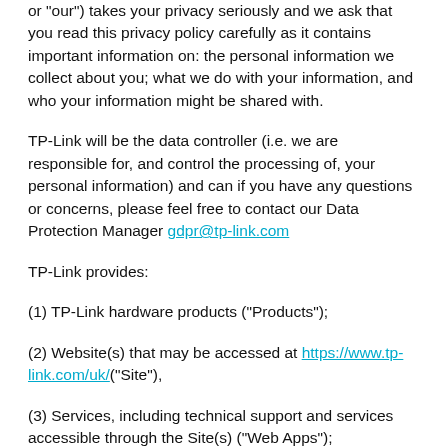or "our") takes your privacy seriously and we ask that you read this privacy policy carefully as it contains important information on: the personal information we collect about you; what we do with your information, and who your information might be shared with.
TP-Link will be the data controller (i.e. we are responsible for, and control the processing of, your personal information) and can if you have any questions or concerns, please feel free to contact our Data Protection Manager gdpr@tp-link.com
TP-Link provides:
(1) TP-Link hardware products ("Products");
(2) Website(s) that may be accessed at https://www.tp-link.com/uk/("Site"),
(3) Services, including technical support and services accessible through the Site(s) ("Web Apps");
(4) Software that may be downloaded to your smartphone or